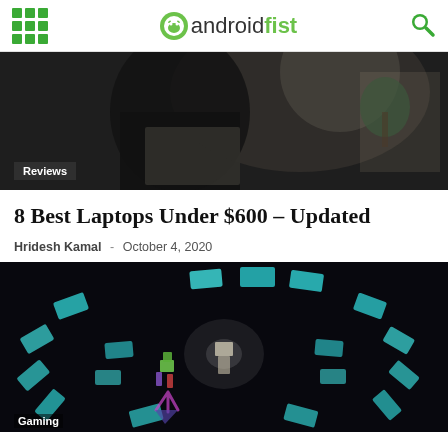androidfist
[Figure (photo): Dark photograph of a person using a laptop, shown from behind/side angle]
Reviews
8 Best Laptops Under $600 – Updated
Hridesh Kamal - October 4, 2020
[Figure (photo): Dark gaming scene with glowing teal/cyan rectangular shapes arranged in an arc, colorful pixel-art style characters in the foreground]
Gaming